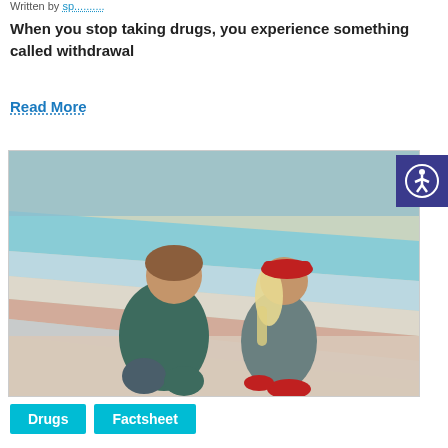Written by [author link]
When you stop taking drugs, you experience something called withdrawal
Read More
[Figure (photo): Two people sitting on colorful striped pavement/ground. Person on left wears dark green clothing. Person on right has blonde hair in ponytail and wears a red cap and red shoes.]
Drugs
Factsheet